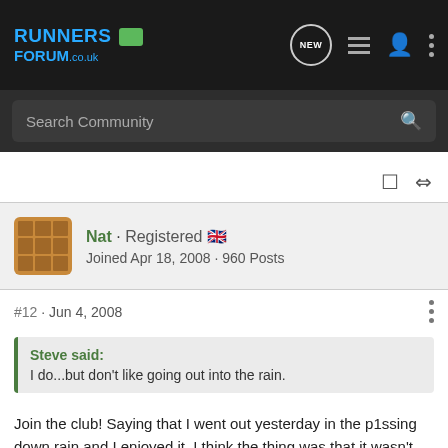[Figure (screenshot): Runners Forum co.uk navigation bar with logo, NEW chat icon, list icon, user icon, and three-dot menu icon on dark background]
Search Community
Nat · Registered 🇬🇧
Joined Apr 18, 2008 · 960 Posts
#12 · Jun 4, 2008
Steve said:
I do...but don't like going out into the rain.
Join the club! Saying that I went out yesterday in the p1ssing down rain and I enjoyed it. I think the thing was that it wasn't cold. If it had been cold and raining I wouldn't have gone!